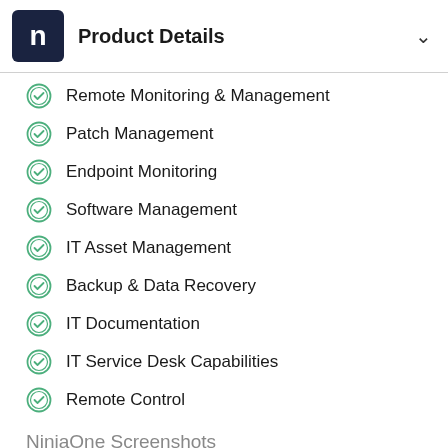Product Details
Remote Monitoring & Management
Patch Management
Endpoint Monitoring
Software Management
IT Asset Management
Backup & Data Recovery
IT Documentation
IT Service Desk Capabilities
Remote Control
NinjaOne Screenshots